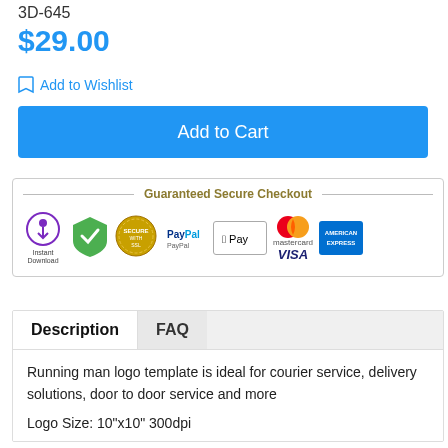3D-645
$29.00
Add to Wishlist
Add to Cart
[Figure (infographic): Guaranteed Secure Checkout box with payment icons: Instant Download, McAfee Secure, Secure with SSL, PayPal, Apple Pay, Mastercard, VISA, American Express]
Description	FAQ
Running man logo template is ideal for courier service, delivery solutions, door to door service and more
Logo Size: 10"x10" 300dpi